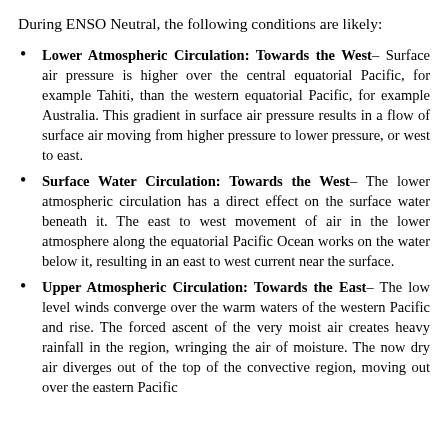During ENSO Neutral, the following conditions are likely:
Lower Atmospheric Circulation: Towards the West– Surface air pressure is higher over the central equatorial Pacific, for example Tahiti, than the western equatorial Pacific, for example Australia. This gradient in surface air pressure results in a flow of surface air moving from higher pressure to lower pressure, or west to east.
Surface Water Circulation: Towards the West– The lower atmospheric circulation has a direct effect on the surface water beneath it. The east to west movement of air in the lower atmosphere along the equatorial Pacific Ocean works on the water below it, resulting in an east to west current near the surface.
Upper Atmospheric Circulation: Towards the East– The low level winds converge over the warm waters of the western Pacific and rise. The forced ascent of the very moist air creates heavy rainfall in the region, wringing the air of moisture. The now dry air diverges out of the top of the convective region, moving out over the eastern Pacific